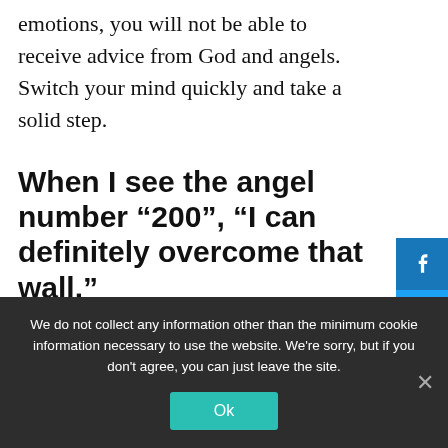emotions, you will not be able to receive advice from God and angels. Switch your mind quickly and take a solid step.
When I see the angel number “200”, “I can definitely overcome that wall.”
If you often see the angel number “200”, you may want to face a wall that cannot be overcome, or you may have a difficult
We do not collect any information other than the minimum cookie information necessary to use the website. We're sorry, but if you don't agree, you can just leave the site.